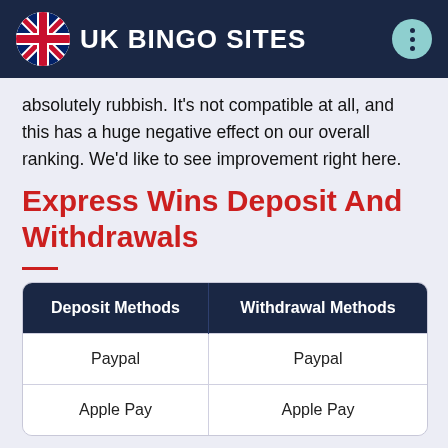UK BINGO SITES
absolutely rubbish. It's not compatible at all, and this has a huge negative effect on our overall ranking. We'd like to see improvement right here.
Express Wins Deposit And Withdrawals
| Deposit Methods | Withdrawal Methods |
| --- | --- |
| Paypal | Paypal |
| Apple Pay | Apple Pay |